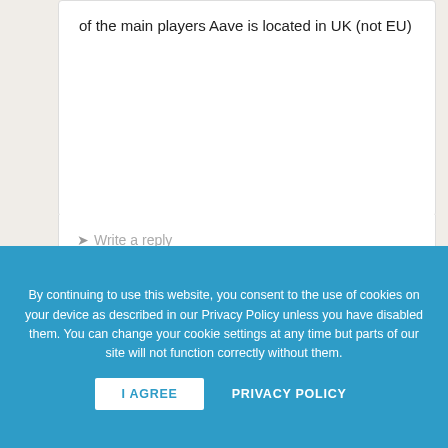of the main players Aave is located in UK (not EU)
Write a reply
Filip • September 1st, 2020 •
crazy as can be. Off course not.
Write a reply
By continuing to use this website, you consent to the use of cookies on your device as described in our Privacy Policy unless you have disabled them. You can change your cookie settings at any time but parts of our site will not function correctly without them.
I AGREE
PRIVACY POLICY